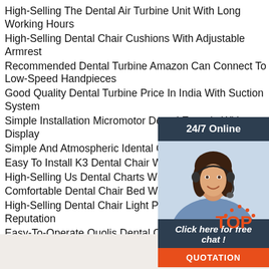High-Selling The Dental Air Turbine Unit With Long Working Hours
High-Selling Dental Chair Cushions With Adjustable Armrest
Recommended Dental Turbine Amazon Can Connect To Low-Speed Handpieces
Good Quality Dental Turbine Price In India With Suction System
Simple Installation Micromotor Dental Entrada With Display
Simple And Atmospheric Idental Charlotte Nc With Motor
Easy To Install K3 Dental Chair With Ceramic
High-Selling Us Dental Charts With DC Motor
Comfortable Dental Chair Bed With Mobile Tro
High-Selling Dental Chair Light Parts With Good Reputation
Easy-To-Operate Quolis Dental Chair With Complete Accessories
Beauty Salon Mega Dental Turbine With Safe Packaging
[Figure (infographic): 24/7 Online chat widget with a woman wearing a headset, 'Click here for free chat!' text, and orange QUOTATION button]
[Figure (logo): Orange TOP logo with dotted arc above letters]